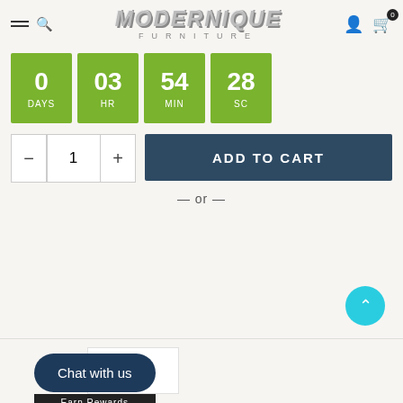[Figure (logo): Modernique Furniture logo with stylized chrome 3D italic text and 'FURNITURE' subtitle in spaced letters]
[Figure (infographic): Countdown timer showing 0 DAYS, 03 HR, 54 MIN, 28 SC in green boxes]
[Figure (screenshot): Add to cart UI with quantity selector showing 1 with minus and plus buttons, and dark teal ADD TO CART button]
— or —
[Figure (other): Cyan circular scroll-to-top button with upward chevron]
[Figure (other): Chat with us button (dark navy rounded pill) and Earn Rewards label below]